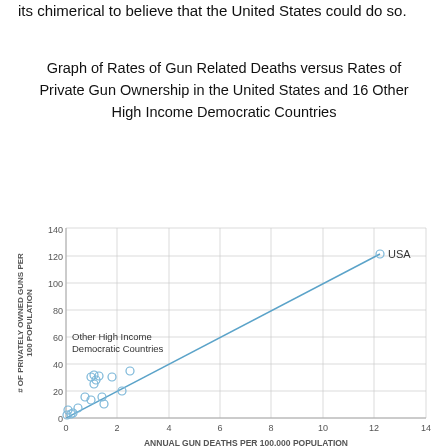its chimerical to believe that the United States could do so.
Graph of Rates of Gun Related Deaths versus Rates of Private Gun Ownership in the United States and 16 Other High Income Democratic Countries
[Figure (scatter-plot): Scatter plot with trend line showing USA as an outlier at approximately (12.2, 121), and other high income democratic countries clustered near (0-2.5, 0-35).]